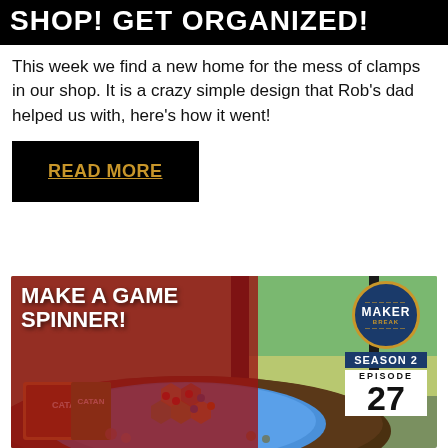SHOP! GET ORGANIZED!
This week we find a new home for the mess of clamps in our shop. It is a crazy simple design that Rob's dad helped us with, here's how it went!
READ MORE
[Figure (photo): Thumbnail image for 'Make a Game Spinner!' episode of Maker Break, Season 2 Episode 27. Shows a Catan board game on a round wooden table with game pieces, with a red overlay on the left side displaying the title text, and a badge/logo in the top right corner.]